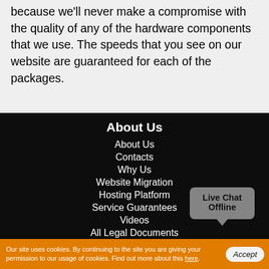because we'll never make a compromise with the quality of any of the hardware components that we use. The speeds that you see on our website are guaranteed for each of the packages.
About Us
About Us
Contacts
Why Us
Website Migration
Hosting Platform
Service Guarantees
Videos
All Legal Documents
Live Chat Offline
Our site uses cookies. By continuing to the site you are giving your permission to our usage of cookies. Find out more about this here.